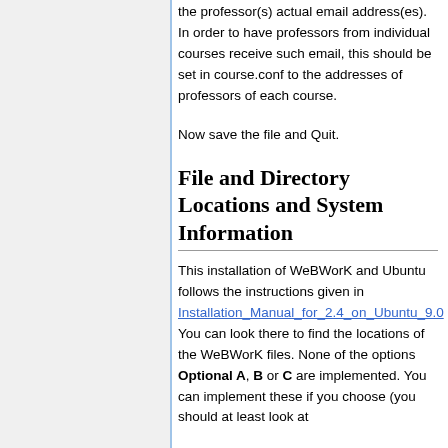the professor(s) actual email address(es). In order to have professors from individual courses receive such email, this should be set in course.conf to the addresses of professors of each course.
Now save the file and Quit.
File and Directory Locations and System Information
This installation of WeBWorK and Ubuntu follows the instructions given in Installation_Manual_for_2.4_on_Ubuntu_9.0. You can look there to find the locations of the WeBWorK files. None of the options Optional A, B or C are implemented. You can implement these if you choose (you should at least look at